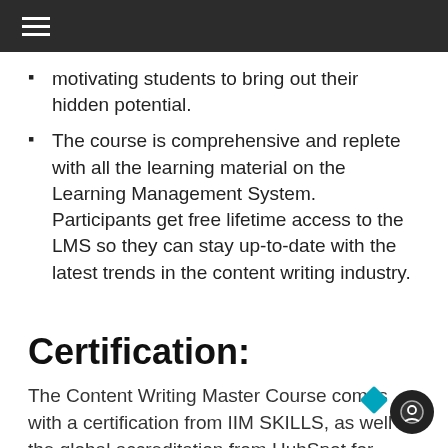≡
motivating students to bring out their hidden potential.
The course is comprehensive and replete with all the learning material on the Learning Management System. Participants get free lifetime access to the LMS so they can stay up-to-date with the latest trends in the content writing industry.
Certification:
The Content Writing Master Course comes with a certification from IIM SKILLS, as well as the global accreditation from HubSpot for content marketing